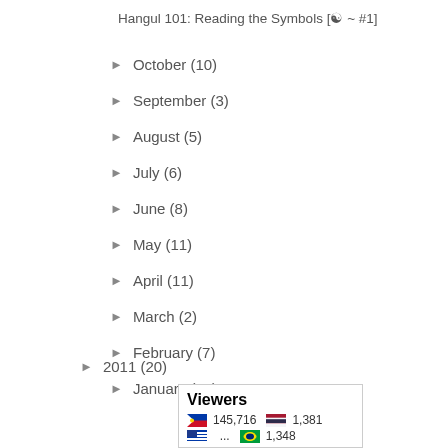Hangul 101: Reading the Symbols [☯ ~ #1]
► October (10)
► September (3)
► August (5)
► July (6)
► June (8)
► May (11)
► April (11)
► March (2)
► February (7)
► January (16)
► 2011 (20)
| Flag | Viewers | Flag | Viewers |
| --- | --- | --- | --- |
| 🇵🇭 | 145,716 | 🇹🇭 | 1,381 |
|  | ... |  | 1,348 |